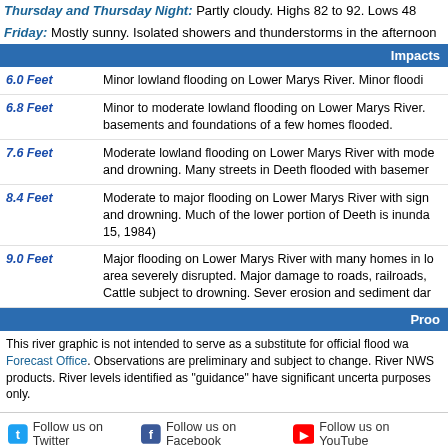Thursday and Thursday Night: Partly cloudy. Highs 82 to 92. Lows 48
Friday: Mostly sunny. Isolated showers and thunderstorms in the afternoon
Impacts
| Feet | Impacts |
| --- | --- |
| 6.0 Feet | Minor lowland flooding on Lower Marys River. Minor flooding |
| 6.8 Feet | Minor to moderate lowland flooding on Lower Marys River. basements and foundations of a few homes flooded. |
| 7.6 Feet | Moderate lowland flooding on Lower Marys River with mode and drowning. Many streets in Deeth flooded with basemen |
| 8.4 Feet | Moderate to major flooding on Lower Marys River with sign and drowning. Much of the lower portion of Deeth is inunda 15, 1984) |
| 9.0 Feet | Major flooding on Lower Marys River with many homes in lo area severely disrupted. Major damage to roads, railroads, Cattle subject to drowning. Sever erosion and sediment da |
Proo
This river graphic is not intended to serve as a substitute for official flood wa Forecast Office. Observations are preliminary and subject to change. River NWS products. River levels identified as "guidance" have significant uncerta purposes only.
Follow us on Twitter   Follow us on Facebook   Follow us on YouTube
US Dept of Commerce
National Oceanic and Atmospheric Administration